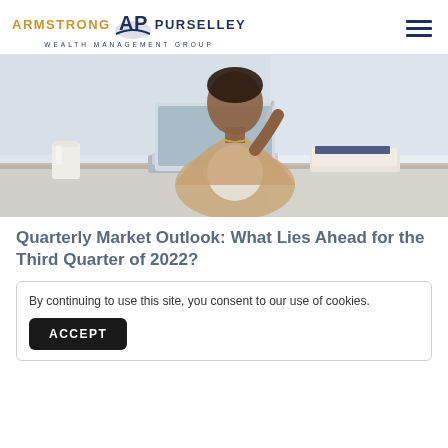ARMSTRONG PURSELLEY WEALTH MANAGEMENT GROUP
[Figure (photo): A professional woman sitting at a desk with a laptop, holding a pen to her chin thoughtfully, with coffee cup and notebooks on desk, bright window background.]
Quarterly Market Outlook: What Lies Ahead for the Third Quarter of 2022?
By continuing to use this site, you consent to our use of cookies.
ACCEPT